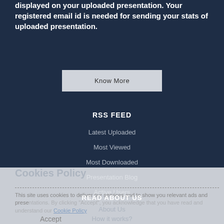displayed on your uploaded presentation. Your registered email id is needed for sending your stats of uploaded presentation.
Know More
RSS FEED
Latest Uploaded
Most Viewed
Most Downloaded
Presentation Blog
Active Users
READ ABOUT US
About Us
How it works?
Disclaimer
Cookies Policy
This site uses cookies to deliver our services and to show you relevant ads and presentations. By clicking "Accept", you acknowledge that you have read and understand our Cookie Policy
Accept